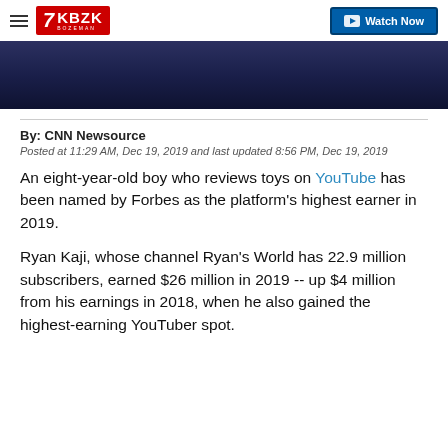7 KBZK BOZEMAN | Watch Now
[Figure (photo): Dark navy/blue hero image banner area]
By: CNN Newsource
Posted at 11:29 AM, Dec 19, 2019 and last updated 8:56 PM, Dec 19, 2019
An eight-year-old boy who reviews toys on YouTube has been named by Forbes as the platform's highest earner in 2019.
Ryan Kaji, whose channel Ryan's World has 22.9 million subscribers, earned $26 million in 2019 -- up $4 million from his earnings in 2018, when he also gained the highest-earning YouTuber spot.